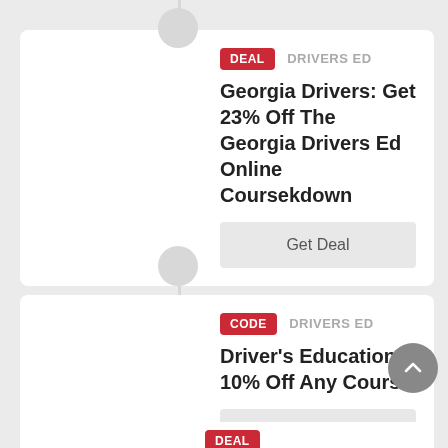23%
DEAL   DRIVERS ED
Georgia Drivers: Get 23% Off The Georgia Drivers Ed Online Coursekdown
Get Deal
10%
CODE   DRIVERS ED
Driver's Education: 10% Off Any Course
em600